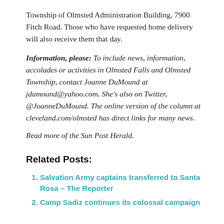Township of Olmsted Administration Building, 7900 Fitch Road. Those who have requested home delivery will also receive them that day.
Information, please: To include news, information, accolades or activities in Olmsted Falls and Olmsted Township, contact Joanne DuMound at jdumound@yahoo.com. She's also on Twitter, @JoanneDuMound. The online version of the column at cleveland.com/olmsted has direct links for many news.
Read more of the Sun Post Herald.
Related Posts:
Salvation Army captains transferred to Santa Rosa – The Reporter
Camp Sadi... continues its colossal campaign